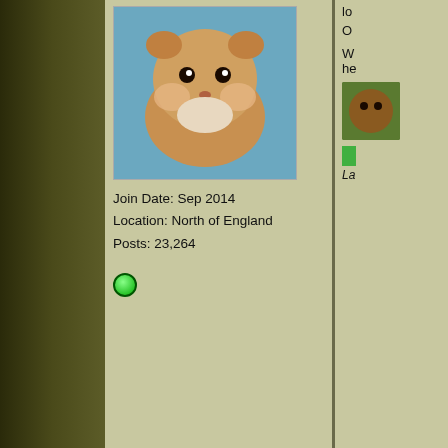[Figure (photo): User profile photo of a hamster (brown/golden) on blue background]
Join Date: Sep 2014
Location: North of England
Posts: 23,264
[Figure (other): Green online indicator dot]
06-13-2022, 07:19 AM
souffle
Moderator
[Figure (illustration): Cartoon hamster avatar on yellow-green background]
Join Date: Nov 2005
Location: Yorkshire, UK but my heart lies in Scotland!
Posts: 27,789
Yo
O
ht